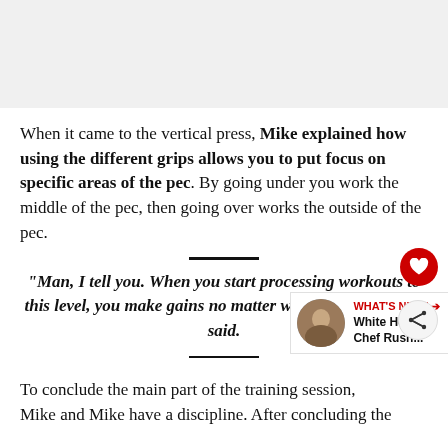[Figure (photo): Image placeholder at top of page]
When it came to the vertical press, Mike explained how using the different grips allows you to put focus on specific areas of the pec. By going under you work the middle of the pec, then going over works the outside of the pec.
“Man, I tell you. When you start processing workouts to this level, you make gains no matter what age,” O’Hearn said.
To conclude the main part of the training session, Mike and Mike have a discipline. After concluding the